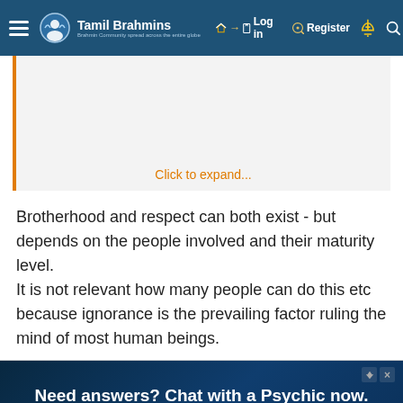Tamil Brahmins — Log in | Register
Click to expand...
Brotherhood and respect can both exist - but depends on the people involved and their maturity level.
It is not relevant how many people can do this etc because ignorance is the prevailing factor ruling the mind of most human beings.
[Figure (screenshot): Advertisement for California Psychics: 'Need answers? Chat with a Psychic now. $1/ per minute* for new customers. Sign up now. *20 minutes purchase required']